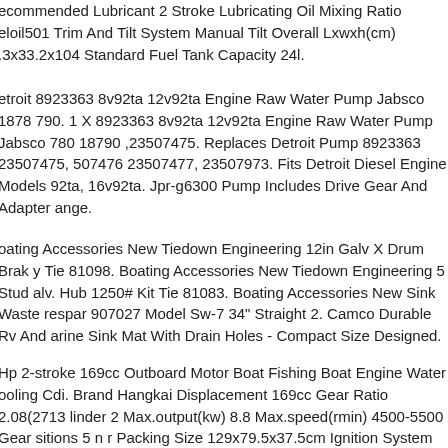ecommended Lubricant 2 Stroke Lubricating Oil Mixing Ratio eloil501 Trim And Tilt System Manual Tilt Overall Lxwxh(cm) .3x33.2x104 Standard Fuel Tank Capacity 24l.
etroit 8923363 8v92ta 12v92ta Engine Raw Water Pump Jabsco 1878 790. 1 X 8923363 8v92ta 12v92ta Engine Raw Water Pump Jabsco 780 18790 ,23507475. Replaces Detroit Pump 8923363 23507475, 507476 23507477, 23507973. Fits Detroit Diesel Engine Models 92ta, 16v92ta. Jpr-g6300 Pump Includes Drive Gear And Adapter ange.
oating Accessories New Tiedown Engineering 12in Galv X Drum Brak y Tie 81098. Boating Accessories New Tiedown Engineering 5 Stud alv. Hub 1250# Kit Tie 81083. Boating Accessories New Sink Waste respar 907027 Model Sw-7 34" Straight 2. Camco Durable Rv And arine Sink Mat With Drain Holes - Compact Size Designed.
Hp 2-stroke 169cc Outboard Motor Boat Fishing Boat Engine Water ooling Cdi. Brand Hangkai Displacement 169cc Gear Ratio 2.08(2713 linder 2 Max.output(kw) 8.8 Max.speed(rmin) 4500-5500 Gear sitions 5 n r Packing Size 129x79.5x37.5cm Ignition System Cdi.